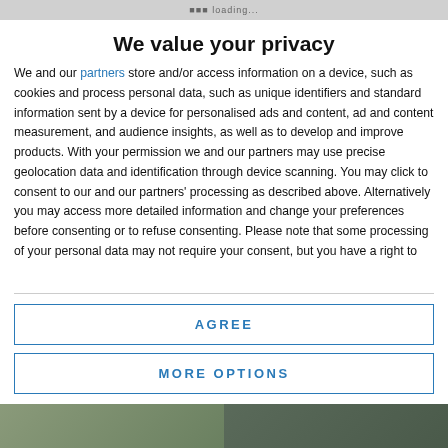We value your privacy
We and our partners store and/or access information on a device, such as cookies and process personal data, such as unique identifiers and standard information sent by a device for personalised ads and content, ad and content measurement, and audience insights, as well as to develop and improve products. With your permission we and our partners may use precise geolocation data and identification through device scanning. You may click to consent to our and our partners' processing as described above. Alternatively you may access more detailed information and change your preferences before consenting or to refuse consenting. Please note that some processing of your personal data may not require your consent, but you have a right to
AGREE
MORE OPTIONS
[Figure (photo): Bottom strip showing an outdoor photo, partially visible]